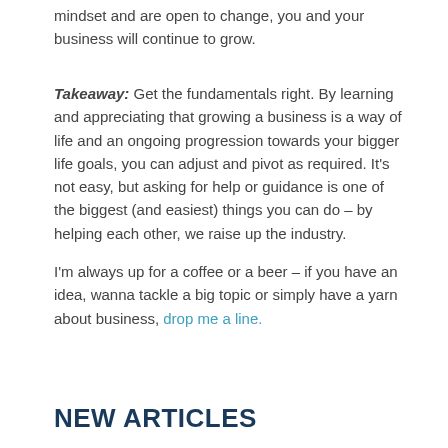mindset and are open to change, you and your business will continue to grow.
Takeaway: Get the fundamentals right. By learning and appreciating that growing a business is a way of life and an ongoing progression towards your bigger life goals, you can adjust and pivot as required. It's not easy, but asking for help or guidance is one of the biggest (and easiest) things you can do – by helping each other, we raise up the industry.
I'm always up for a coffee or a beer – if you have an idea, wanna tackle a big topic or simply have a yarn about business, drop me a line.
NEW ARTICLES